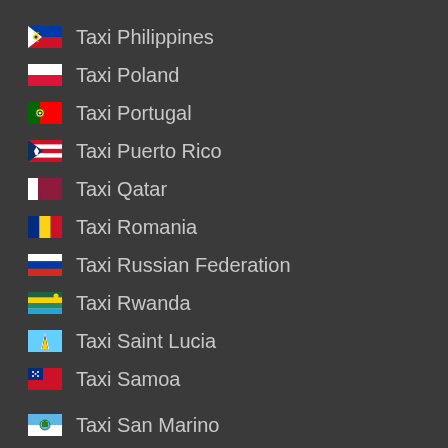Taxi Philippines
Taxi Poland
Taxi Portugal
Taxi Puerto Rico
Taxi Qatar
Taxi Romania
Taxi Russian Federation
Taxi Rwanda
Taxi Saint Lucia
Taxi Samoa
Taxi San Marino